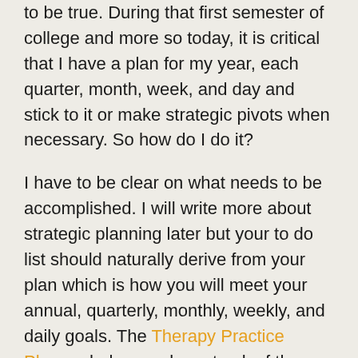to be true. During that first semester of college and more so today, it is critical that I have a plan for my year, each quarter, month, week, and day and stick to it or make strategic pivots when necessary. So how do I do it?
I have to be clear on what needs to be accomplished. I will write more about strategic planning later but your to do list should naturally derive from your plan which is how you will meet your annual, quarterly, monthly, weekly, and daily goals. The Therapy Practice Planner helps you keep track of these goals and manage your to do list. Writing down your goals is critical for several reasons: 1) It get's them out of your head. If you have ever had a thought in your head that you needed to stop thinking about and wrote it down, you know what I